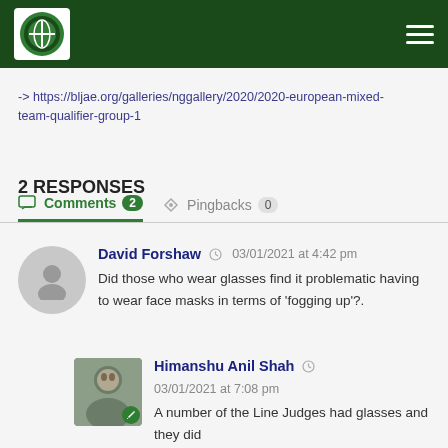BLJAE website header with logo and navigation menu
-> https://bljae.org/galleries/nggallery/2020/2020-european-mixed-team-qualifier-group-1
2 RESPONSES
Comments 2   Pingbacks 0
David Forshaw 03/01/2021 at 4:42 pm
Did those who wear glasses find it problematic having to wear face masks in terms of 'fogging up'?.
Himanshu Anil Shah 03/01/2021 at 7:08 pm
A number of the Line Judges had glasses and they did not find them fogging up